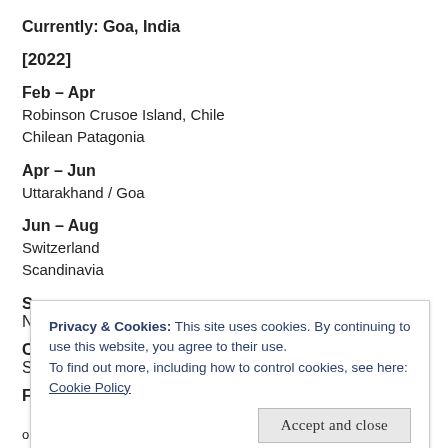Currently: Goa, India
[2022]
Feb – Apr
Robinson Crusoe Island, Chile
Chilean Patagonia
Apr – Jun
Uttarakhand / Goa
Jun – Aug
Switzerland
Scandinavia
S
N
C
S
F
or reach out to me at shivyanath@gmail.com
Privacy & Cookies: This site uses cookies. By continuing to use this website, you agree to their use.
To find out more, including how to control cookies, see here:
Cookie Policy
Accept and close